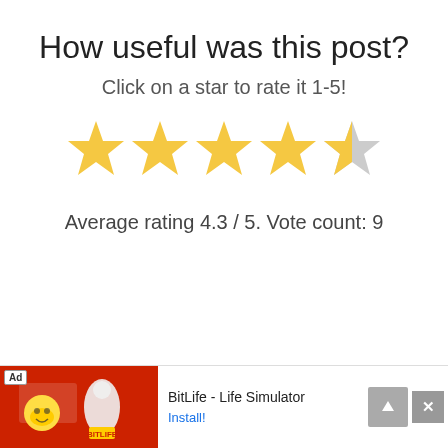How useful was this post?
Click on a star to rate it 1-5!
[Figure (infographic): Five-star rating widget showing 4 full yellow stars and 1 half-grey star, representing an average rating of 4.3 out of 5]
Average rating 4.3 / 5. Vote count: 9
[Figure (infographic): Advertisement banner for BitLife - Life Simulator app with red background, emoji graphics, and an Install! call-to-action link]